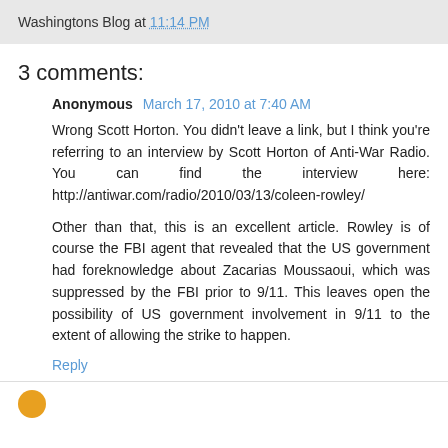Washingtons Blog at 11:14 PM
3 comments:
Anonymous March 17, 2010 at 7:40 AM
Wrong Scott Horton. You didn't leave a link, but I think you're referring to an interview by Scott Horton of Anti-War Radio. You can find the interview here: http://antiwar.com/radio/2010/03/13/coleen-rowley/
Other than that, this is an excellent article. Rowley is of course the FBI agent that revealed that the US government had foreknowledge about Zacarias Moussaoui, which was suppressed by the FBI prior to 9/11. This leaves open the possibility of US government involvement in 9/11 to the extent of allowing the strike to happen.
Reply